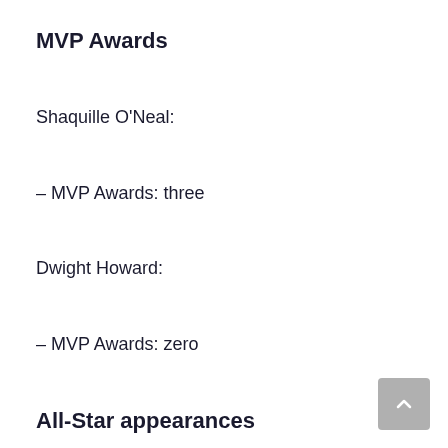MVP Awards
Shaquille O'Neal:
– MVP Awards: three
Dwight Howard:
– MVP Awards: zero
All-Star appearances
Shaquille O'Neal: